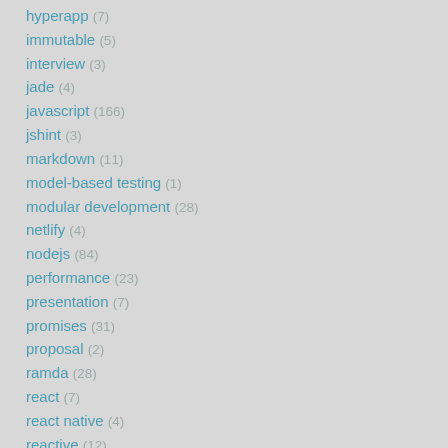hyperapp (7)
immutable (5)
interview (3)
jade (4)
javascript (166)
jshint (3)
markdown (11)
model-based testing (1)
modular development (28)
netlify (4)
nodejs (84)
performance (23)
presentation (7)
promises (31)
proposal (2)
ramda (28)
react (7)
react native (4)
reactive (12)
reactjs (4)
renovate (5)
screencast (1)
security (?)